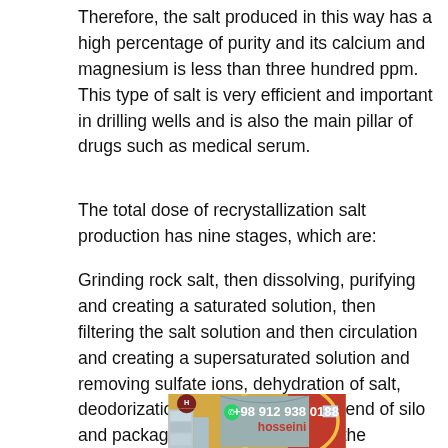Therefore, the salt produced in this way has a high percentage of purity and its calcium and magnesium is less than three hundred ppm. This type of salt is very efficient and important in drilling wells and is also the main pillar of drugs such as medical serum.
The total dose of recrystallization salt production has nine stages, which are:
Grinding rock salt, then dissolving, purifying and creating a saturated solution, then filtering the salt solution and then circulation and creating a supersaturated solution and removing sulfate ions, dehydration of salt, deodorization, drying of salt at the end of silo and packaging Salt and send it to the consumer market.
[Figure (photo): Photo of a salt production facility with bags/sacks visible, showing a warehouse interior with arched roof. Overlaid with company contact info: phone +98 912 938 0188, name 'hosseini', WhatsApp icon, and company logo with letter H.]